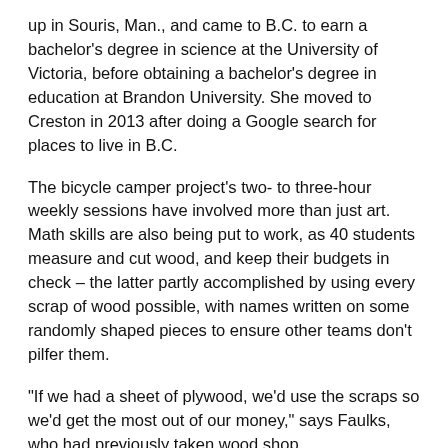up in Souris, Man., and came to B.C. to earn a bachelor's degree in science at the University of Victoria, before obtaining a bachelor's degree in education at Brandon University. She moved to Creston in 2013 after doing a Google search for places to live in B.C.
The bicycle camper project's two- to three-hour weekly sessions have involved more than just art. Math skills are also being put to work, as 40 students measure and cut wood, and keep their budgets in check – the latter partly accomplished by using every scrap of wood possible, with names written on some randomly shaped pieces to ensure other teams don't pilfer them.
"If we had a sheet of plywood, we'd use the scraps so we'd get the most out of our money," says Faulks, who had previously taken wood shop.
"There's all this problem solving going on and they don't even know it," says Adams.
She researched the bicycle campers in books and online, and brought in volunteers to help the students in areas she couldn't: